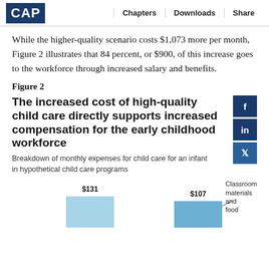CAP  Chapters  Downloads  Share
While the higher-quality scenario costs $1,073 more per month, Figure 2 illustrates that 84 percent, or $900, of this increase goes to the workforce through increased salary and benefits.
Figure 2
The increased cost of high-quality child care directly supports increased compensation for the early childhood workforce
Breakdown of monthly expenses for child care for an infant in hypothetical child care programs
[Figure (bar-chart): Partial bar chart showing $131 (baseline) and $107 (high-quality) bars with annotation: Classroom materials and food]